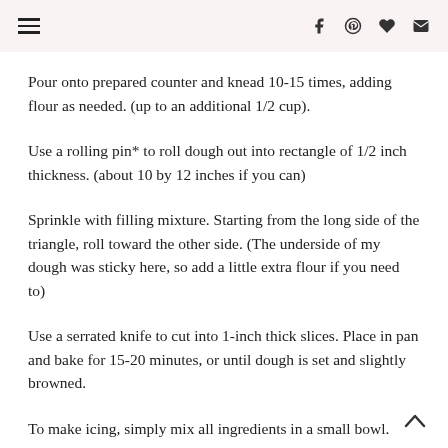navigation and social icons header
Pour onto prepared counter and knead 10-15 times, adding flour as needed. (up to an additional 1/2 cup).
Use a rolling pin* to roll dough out into rectangle of 1/2 inch thickness. (about 10 by 12 inches if you can)
Sprinkle with filling mixture. Starting from the long side of the triangle, roll toward the other side. (The underside of my dough was sticky here, so add a little extra flour if you need to)
Use a serrated knife to cut into 1-inch thick slices. Place in pan and bake for 15-20 minutes, or until dough is set and slightly browned.
To make icing, simply mix all ingredients in a small bowl.